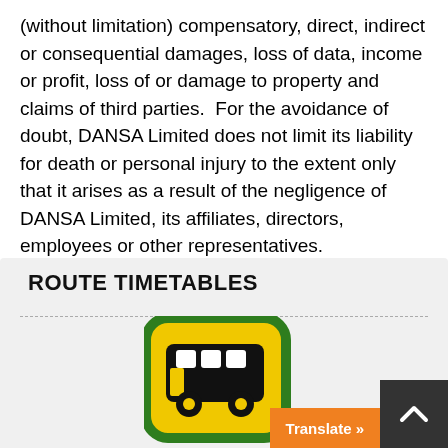(without limitation) compensatory, direct, indirect or consequential damages, loss of data, income or profit, loss of or damage to property and claims of third parties.  For the avoidance of doubt, DANSA Limited does not limit its liability for death or personal injury to the extent only that it arises as a result of the negligence of DANSA Limited, its affiliates, directors, employees or other representatives.
ROUTE TIMETABLES
[Figure (illustration): A yellow and green bus stop / route timetable icon showing a black double-decker bus on a yellow rounded-square background with a thick green border.]